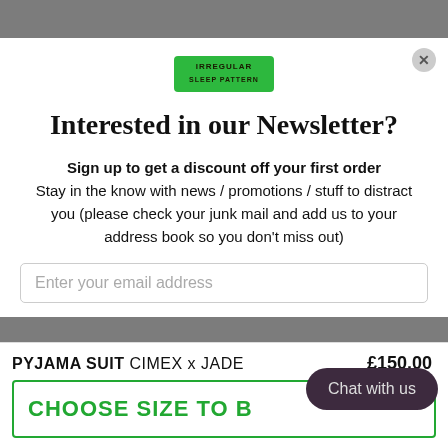[Figure (logo): Irregular Sleep Pattern brand logo on green badge]
Interested in our Newsletter?
Sign up to get a discount off your first order
Stay in the know with news / promotions / stuff to distract you (please check your junk mail and add us to your address book so you don't miss out)
Enter your email address
PYJAMA SUIT CIMEX x JADE £150.00
CHOOSE SIZE TO B...
Chat with us